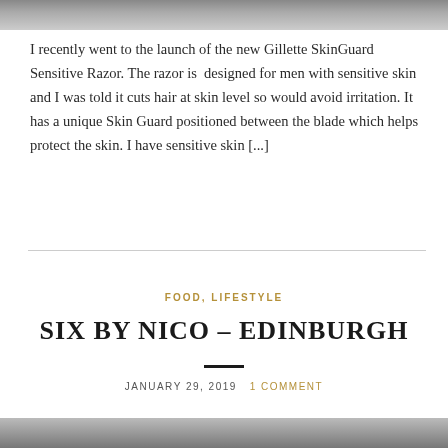[Figure (photo): Top partial image, cropped at page top]
I recently went to the launch of the new Gillette SkinGuard Sensitive Razor. The razor is  designed for men with sensitive skin and I was told it cuts hair at skin level so would avoid irritation. It has a unique Skin Guard positioned between the blade which helps protect the skin. I have sensitive skin [...]
FOOD, LIFESTYLE
SIX BY NICO – EDINBURGH
JANUARY 29, 2019  1 COMMENT
[Figure (photo): Bottom partial image, cropped at page bottom]